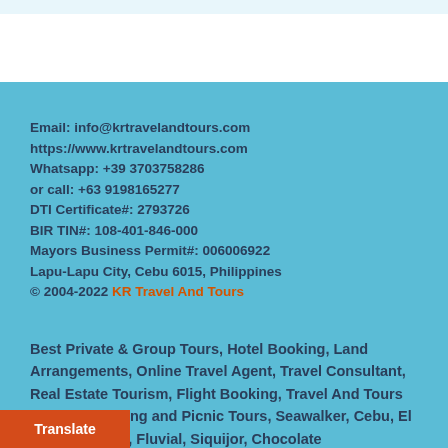Email: info@krtravelandtours.com
https://www.krtravelandtours.com
Whatsapp: +39 3703758286
or call: +63 9198165277
DTI Certificate#: 2793726
BIR TIN#: 108-401-846-000
Mayors Business Permit#: 006006922
Lapu-Lapu City, Cebu 6015, Philippines
© 2004-2022 KR Travel And Tours
Best Private & Group Tours, Hotel Booking, Land Arrangements, Online Travel Agent, Travel Consultant, Real Estate Tourism, Flight Booking, Travel And Tours Market Shopping and Picnic Tours, Seawalker, Cebu, El Nido, Palawan, Fluvial, Siquijor, Chocolate